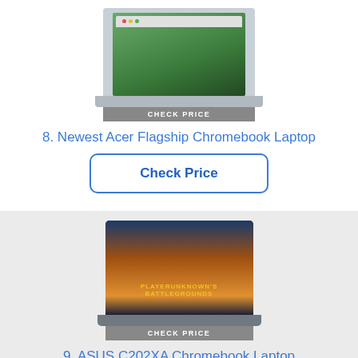[Figure (photo): Acer Chromebook laptop image with CHECK PRICE bar below]
8. Newest Acer Flagship Chromebook Laptop
Check Price
[Figure (photo): ASUS C202XA Chromebook laptop with gaming screen image and CHECK PRICE bar]
9. ASUS C202XA Chromebook Laptop
Check Price
[Figure (photo): Third laptop product image partially visible at bottom of page]